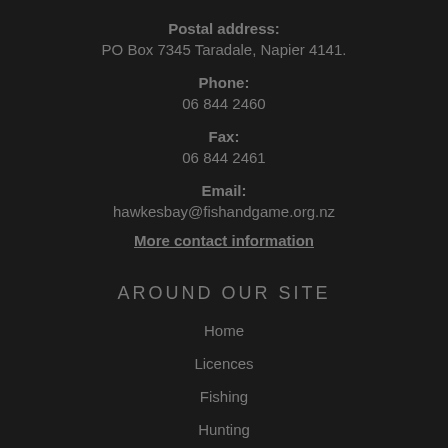Postal address:
PO Box 7345 Taradale, Napier 4141.
Phone:
06 844 2460
Fax:
06 844 2461
Email:
hawkesbay@fishandgame.org.nz
More contact information
AROUND OUR SITE
Home
Licences
Fishing
Hunting